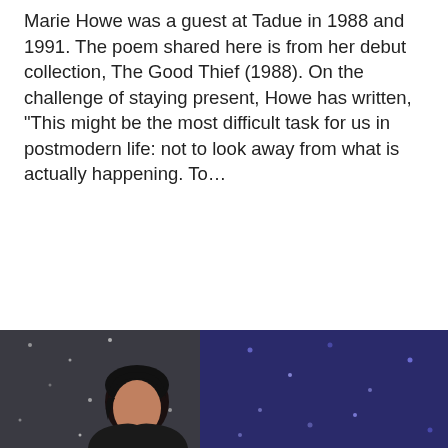Marie Howe was a guest at Tadue in 1988 and 1991. The poem shared here is from her debut collection, The Good Thief (1988). On the challenge of staying present, Howe has written, "This might be the most difficult task for us in postmodern life: not to look away from what is actually happening. To...
Read More
[Figure (photo): A person with dark hair facing slightly left, in front of a glittery/sequined blue curtain backdrop, appearing to speak or perform.]